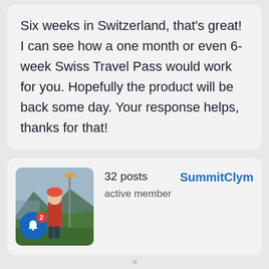Six weeks in Switzerland, that's great! I can see how a one month or even 6-week Swiss Travel Pass would work for you. Hopefully the product will be back some day. Your response helps, thanks for that!
[Figure (photo): Profile photo of a person standing on a green hillside with mountains in background, with notification bell icon overlay showing badge count of 2]
32 posts
active member
SummitClym